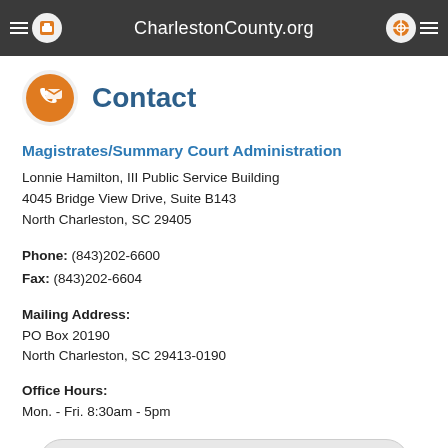CharlestonCounty.org
Contact
Magistrates/Summary Court Administration
Lonnie Hamilton, III Public Service Building
4045 Bridge View Drive, Suite B143
North Charleston, SC 29405
Phone: (843)202-6600
Fax: (843)202-6604
Mailing Address:
PO Box 20190
North Charleston, SC 29413-0190
Office Hours:
Mon. - Fri. 8:30am - 5pm
Bond Court Requests